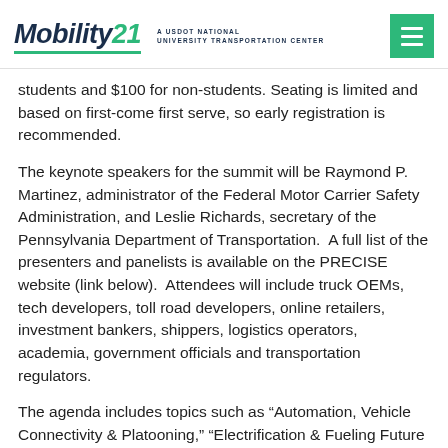Mobility21 — A USDOT National University Transportation Center
students and $100 for non-students. Seating is limited and based on first-come first serve, so early registration is recommended.
The keynote speakers for the summit will be Raymond P. Martinez, administrator of the Federal Motor Carrier Safety Administration, and Leslie Richards, secretary of the Pennsylvania Department of Transportation.  A full list of the presenters and panelists is available on the PRECISE website (link below).  Attendees will include truck OEMs, tech developers, toll road developers, online retailers, investment bankers, shippers, logistics operators, academia, government officials and transportation regulators.
The agenda includes topics such as “Automation, Vehicle Connectivity & Platooning,” “Electrification & Fueling Future Freight,” “Financing Interstate 2.0,” “Digitization in Logistics and Supply Chain,” “Logistics of the Last Mile,” and “Environment & Environmental Impacts.” The freight...